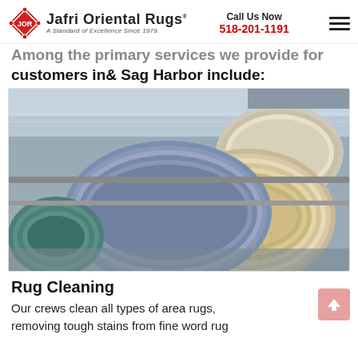Jafri Oriental Rugs | A Standard of Excellence Since 1979. | Call Us Now 518-201-1191
Among the primary services we provide for customers in& Sag Harbor include:
[Figure (photo): Close-up photo of rolled oriental rugs on a cleaning conveyor, showing rolled rugs in a factory/cleaning facility with water visible in the background]
Rug Cleaning
Our crews clean all types of area rugs, removing tough stains from fine word rug